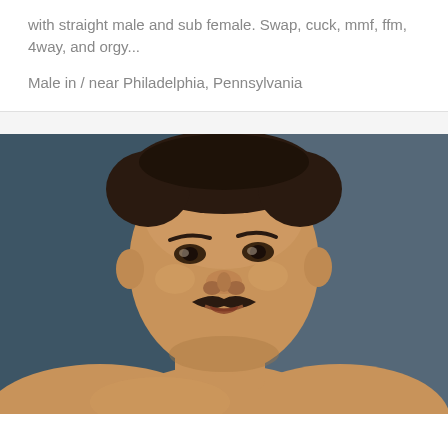with straight male and sub female. Swap, cuck, mmf, ffm, 4way, and orgy...

Male in / near Philadelphia, Pennsylvania
[Figure (photo): Close-up photo of a shirtless man with a mustache against a dark blue-grey background]